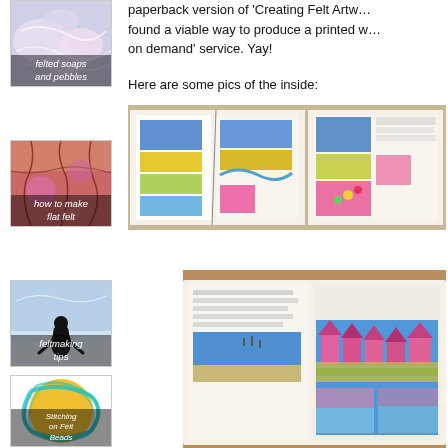[Figure (photo): Thumbnail image showing felted soaps and pebbles with soft pastel swirled fiber textures, labeled 'felted soaps and pebbles']
paperback version of 'Creating Felt Artw… found a viable way to produce a printed w… on demand' service. Yay!
[Figure (photo): Thumbnail image showing cracked colorful felt surface in reds, pinks, and magentas, labeled 'how to make flat felt']
Here are some pics of the inside:
[Figure (photo): Two open book spreads showing interior pages of a felt artwork book, with colorful landscape and floral felt art panels visible]
[Figure (photo): Thumbnail image of a person (penguin-like figure) standing in snow with arms outstretched, labeled 'feltmaking tips']
[Figure (photo): Open book showing interior pages with text and colorful felt artwork panels depicting pink houses along water with reed grasses]
[Figure (photo): Thumbnail image of a round yellow and teal swirled felt bead, labeled 'Stitching on Felt Beads']